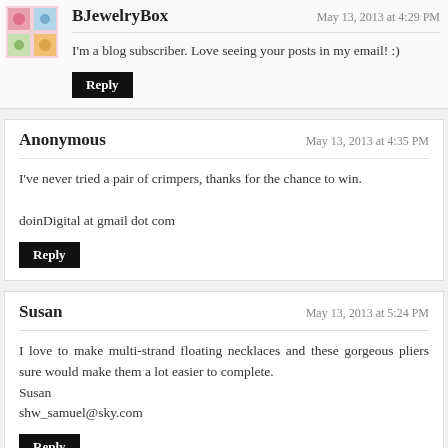BJewelryBox — May 13, 2013 at 4:29 PM
I'm a blog subscriber. Love seeing your posts in my email! :)
Reply
Anonymous — May 13, 2013 at 4:35 PM
I've never tried a pair of crimpers, thanks for the chance to win.

doinDigital at gmail dot com
Reply
Susan — May 13, 2013 at 5:24 PM
I love to make multi-strand floating necklaces and these gorgeous pliers sure would make them a lot easier to complete.
Susan
shw_samuel@sky.com
Reply